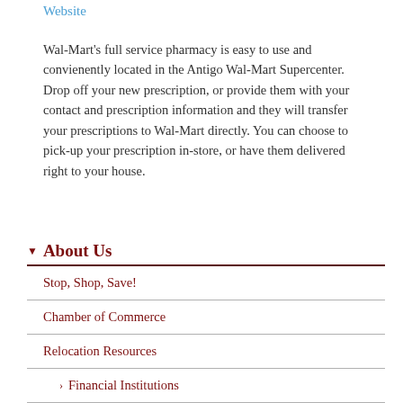Website
Wal-Mart's full service pharmacy is easy to use and convienently located in the Antigo Wal-Mart Supercenter. Drop off your new prescription, or provide them with your contact and prescription information and they will transfer your prescriptions to Wal-Mart directly. You can choose to pick-up your prescription in-store, or have them delivered right to your house.
About Us
Stop, Shop, Save!
Chamber of Commerce
Relocation Resources
Financial Institutions
Healthcare